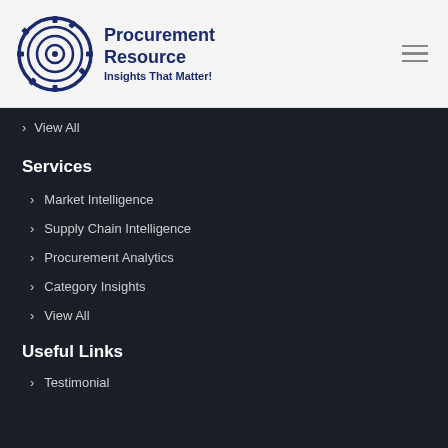[Figure (logo): Procurement Resource logo with circular gear icon and text 'Procurement Resource - Insights That Matter!']
View All
Services
Market Intelligence
Supply Chain Intelligence
Procurement Analytics
Category Insights
View All
Useful Links
Testimonial